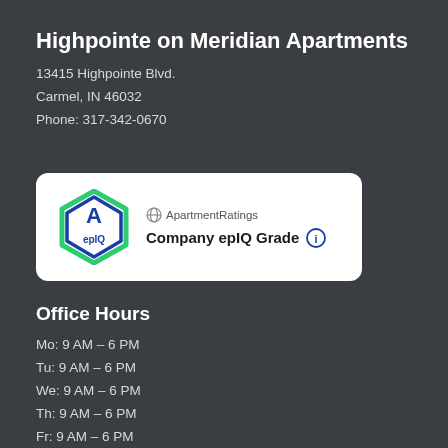Highpointe on Meridian Apartments
13415 Highpointe Blvd.
Carmel, IN 46032
Phone: 317-342-0670
[Figure (logo): ApartmentRatings Company epIQ Grade badge showing a hexagon with 'A epIQ' and text 'Company epIQ Grade' with an info icon]
Office Hours
Mo: 9 AM – 6 PM
Tu: 9 AM – 6 PM
We: 9 AM – 6 PM
Th: 9 AM – 6 PM
Fr: 9 AM – 6 PM